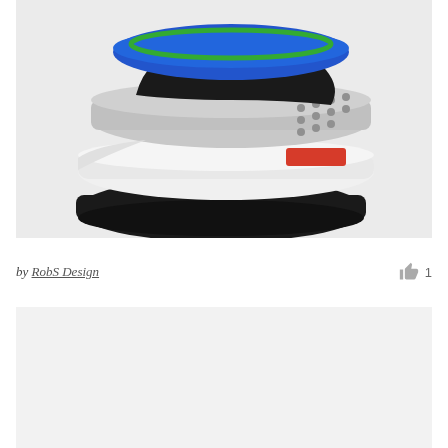[Figure (illustration): 3D render of an exploded view of a shoe/sneaker showing layered components: blue insole on top, gray perforated midsole layer with a red accent stripe, white midsole, and black rubber outsole at the bottom, on a light gray background.]
by RobS Design  👍 1
[Figure (illustration): Second image placeholder area (light gray background, content not visible in this crop).]